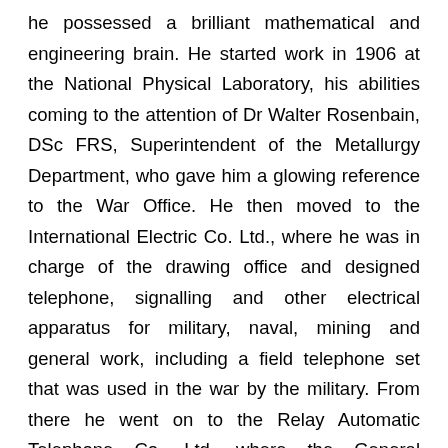he possessed a brilliant mathematical and engineering brain. He started work in 1906 at the National Physical Laboratory, his abilities coming to the attention of Dr Walter Rosenbain, DSc FRS, Superintendent of the Metallurgy Department, who gave him a glowing reference to the War Office. He then moved to the International Electric Co. Ltd., where he was in charge of the drawing office and designed telephone, signalling and other electrical apparatus for military, naval, mining and general work, including a field telephone set that was used in the war by the military. From there he went on to the Relay Automatic Telephone Co. Ltd, where the General Manager, Col. Clay realised that his unusual talents should be used by the military. Bygrave had been medically rejected by the army as he had a weak heart and almost no vision in his left eye. By 1917 it became